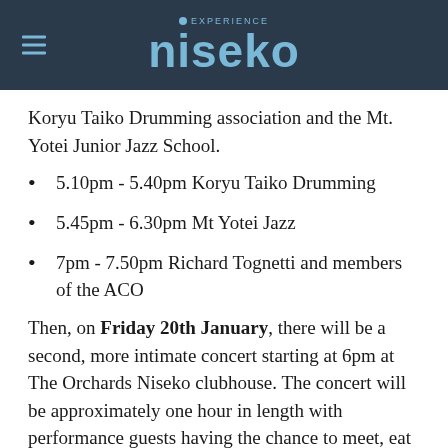experience niseko
Koryu Taiko Drumming association and the Mt. Yotei Junior Jazz School.
5.10pm - 5.40pm Koryu Taiko Drumming
5.45pm - 6.30pm Mt Yotei Jazz
7pm - 7.50pm Richard Tognetti and members of the ACO
Then, on Friday 20th January, there will be a second, more intimate concert starting at 6pm at The Orchards Niseko clubhouse. The concert will be approximately one hour in length with performance guests having the chance to meet, eat and drink with these talented musicians. The event is hosted Elliot Faber a Certified